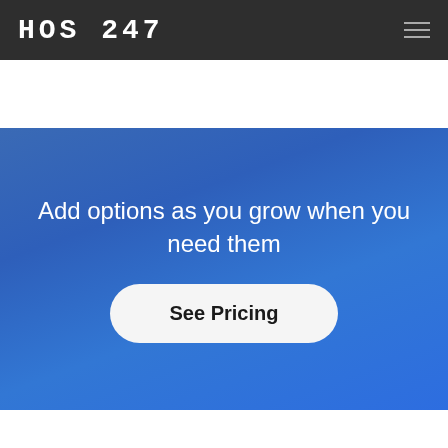HOS 247
Add options as you grow when you need them
See Pricing